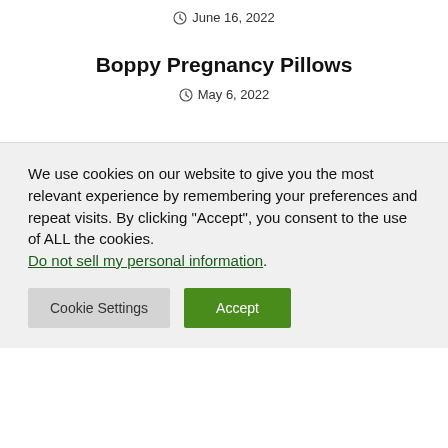June 16, 2022
Boppy Pregnancy Pillows
May 6, 2022
We use cookies on our website to give you the most relevant experience by remembering your preferences and repeat visits. By clicking “Accept”, you consent to the use of ALL the cookies. Do not sell my personal information.
Cookie Settings
Accept